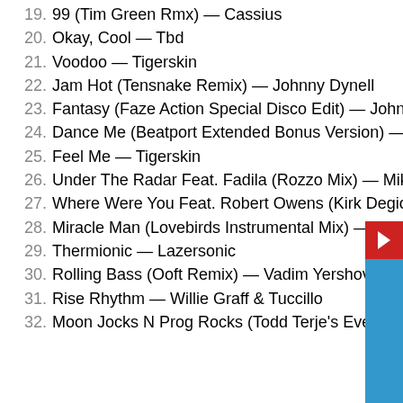19. 99 (Tim Green Rmx) — Cassius
20. Okay, Cool — Tbd
21. Voodoo — Tigerskin
22. Jam Hot (Tensnake Remix) — Johnny Dynell
23. Fantasy (Faze Action Special Disco Edit) — Johnny Hammond
24. Dance Me (Beatport Extended Bonus Version) — Riva Starr feat. Trim
25. Feel Me — Tigerskin
26. Under The Radar Feat. Fadila (Rozzo Mix) — Mike Shann…
27. Where Were You Feat. Robert Owens (Kirk Degiorgio Vo… Remix) — Robert Owens, Tj Kong, Nuno Dos Santos
28. Miracle Man (Lovebirds Instrumental Mix) — Jones, Blar…
29. Thermionic — Lazersonic
30. Rolling Bass (Ooft Remix) — Vadim Yershov
31. Rise Rhythm — Willie Graff & Tuccillo
32. Moon Jocks N Prog Rocks (Todd Terje's Even Stiv-En Dub Version) — Mungolian Jetset